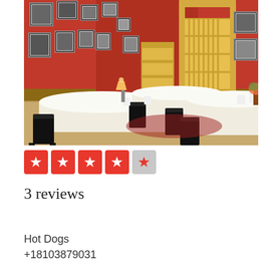[Figure (photo): Interior of a restaurant with red walls covered in framed dog photos, white tablecloth tables, black chairs, and a wood floor. A French door with frosted glass panels is visible in the background.]
[Figure (infographic): Yelp-style star rating showing 4.5 out of 5 stars: five red star icons in square red boxes, with the last one being a half-star on a grey background.]
3 reviews
Hot Dogs
+18103879031